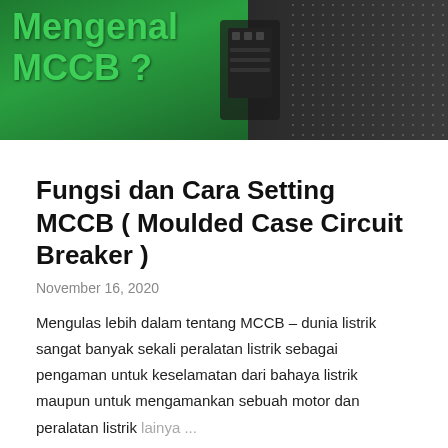[Figure (photo): Hero image showing a green MCCB device being held, with bold green text overlay reading 'Mengenal MCCB?' and a decorative dot pattern on the right side]
Fungsi dan Cara Setting MCCB ( Moulded Case Circuit Breaker )
November 16, 2020
Mengulas lebih dalam tentang MCCB – dunia listrik sangat banyak sekali peralatan listrik sebagai pengaman untuk keselamatan dari bahaya listrik maupun untuk mengamankan sebuah motor dan peralatan listrik lainya ...
SHARE   3 COMMENTS   READ MORE